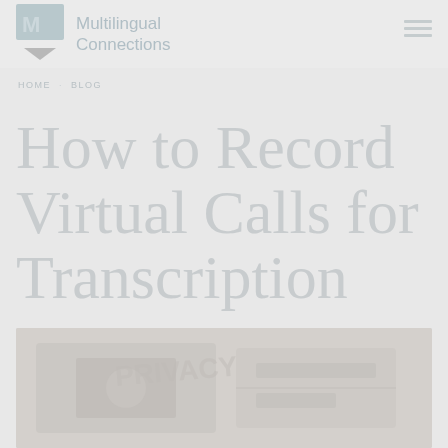Multilingual Connections
HOME · BLOG
How to Record Virtual Calls for Transcription
[Figure (photo): A faded/washed-out photo at the bottom of the page, partially visible, appears to show a virtual call or recording setup scene.]